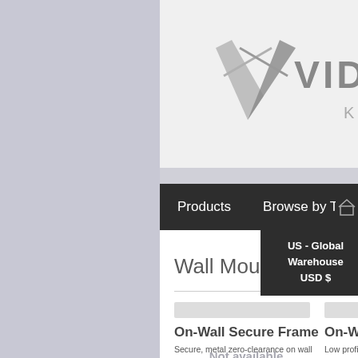[Figure (screenshot): Vidabox Kiosks website screenshot showing the logo header, navigation bar with Products, Browse by Tablet, By App menu items, a dropdown showing US - Global Warehouse USD $, Wall Mounts page title, and two product cards for On-Wall Secure Frame and On-Wall Sl... with 'Not available in this style' overlays.]
VIDABOX KIOSKS
Wall Mounts
On-Wall Secure Frame
Secure, metal zero-clearance on wall frame safe... eases your iPad li... ark of...
Not available in this style
On-Wall Sl...
Low profile on- enclosure... cover for fa... in...
Not available in this style